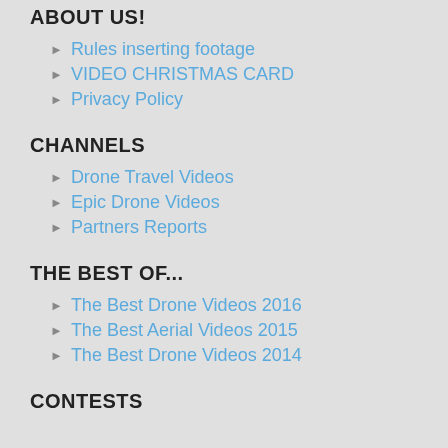ABOUT US!
Rules inserting footage
VIDEO CHRISTMAS CARD
Privacy Policy
CHANNELS
Drone Travel Videos
Epic Drone Videos
Partners Reports
THE BEST OF...
The Best Drone Videos 2016
The Best Aerial Videos 2015
The Best Drone Videos 2014
CONTESTS